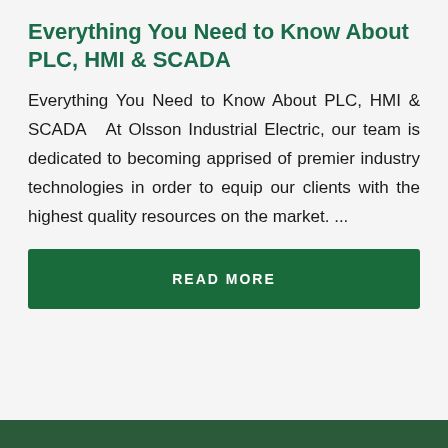Everything You Need to Know About PLC, HMI & SCADA
Everything You Need to Know About PLC, HMI & SCADA  At Olsson Industrial Electric, our team is dedicated to becoming apprised of premier industry technologies in order to equip our clients with the highest quality resources on the market. ...
READ MORE